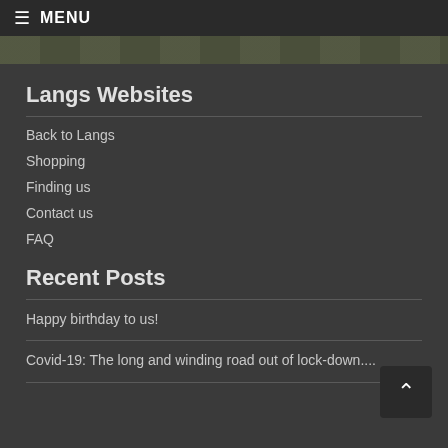≡ MENU
[Figure (illustration): Decorative banner strip with icons/symbols on dark olive background]
Langs Websites
Back to Langs
Shopping
Finding us
Contact us
FAQ
Recent Posts
Happy birthday to us!
Covid-19: The long and winding road out of lock-down....